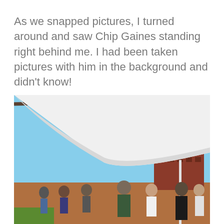As we snapped pictures, I turned around and saw Chip Gaines standing right behind me. I had been taken pictures with him in the background and didn't know!
[Figure (photo): Outdoor photo showing people gathered under a large white tent canopy at what appears to be an outdoor event or market. A red brick building and blue sky are visible in the background, along with metal scaffolding/structure overhead.]